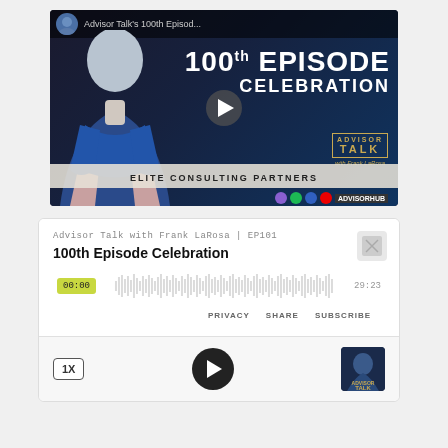[Figure (screenshot): Video thumbnail for Advisor Talk 100th Episode Celebration with Frank LaRosa. Shows a man in a blue suit with crossed arms against a dark background. Title text reads '100th EPISODE CELEBRATION'. Features Advisor Talk with Frank LaRosa logo and Elite Consulting Partners branding. Play button overlay visible. Platform icons for podcast apps shown at bottom.]
[Figure (screenshot): Podcast audio player embed showing episode: Advisor Talk with Frank LaRosa EP101, 100th Episode Celebration. Duration 29:23, current time 00:00. Controls include PRIVACY, SHARE, SUBSCRIBE. Speed button 1X, play button, and podcast artwork thumbnail.]